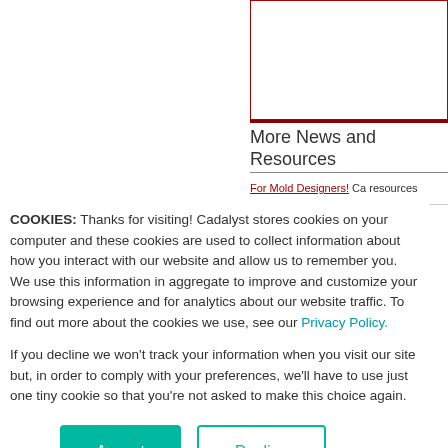[Figure (other): Partial view of a bordered box/image area in the top-right portion of the page, with dark red border]
More News and Resources
For Mold Designers! Ca... resources specific to the...
COOKIES: Thanks for visiting! Cadalyst stores cookies on your computer and these cookies are used to collect information about how you interact with our website and allow us to remember you. We use this information in aggregate to improve and customize your browsing experience and for analytics about our website traffic. To find out more about the cookies we use, see our Privacy Policy.
If you decline we won't track your information when you visit our site but, in order to comply with your preferences, we'll have to use just one tiny cookie so that you're not asked to make this choice again.